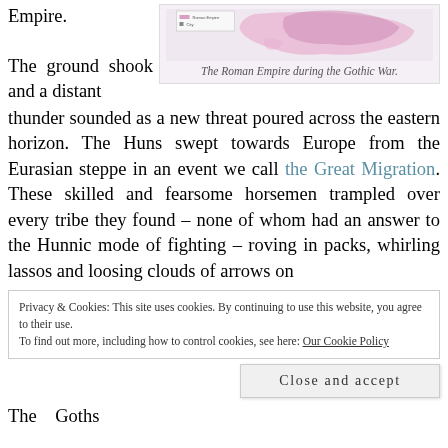Empire.
[Figure (map): Map of the Roman Empire during the Gothic War, showing territories in pink/rose colors with a legend]
The Roman Empire during the Gothic War.
The ground shook and a distant thunder sounded as a new threat poured across the eastern horizon. The Huns swept towards Europe from the Eurasian steppe in an event we call the Great Migration. These skilled and fearsome horsemen trampled over every tribe they found – none of whom had an answer to the Hunnic mode of fighting – roving in packs, whirling lassos and loosing clouds of arrows on
Privacy & Cookies: This site uses cookies. By continuing to use this website, you agree to their use.
To find out more, including how to control cookies, see here: Our Cookie Policy
Close and accept
The Goths